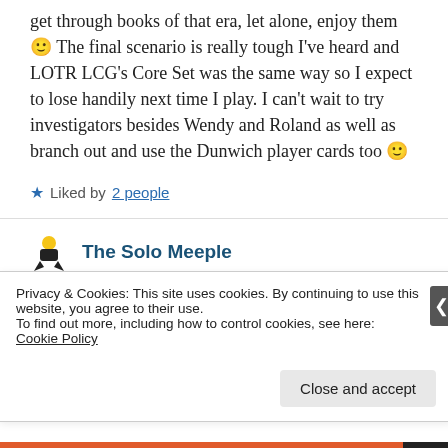get through books of that era, let alone, enjoy them 🙂 The final scenario is really tough I've heard and LOTR LCG's Core Set was the same way so I expect to lose handily next time I play. I can't wait to try investigators besides Wendy and Roland as well as branch out and use the Dunwich player cards too 🙂
★ Liked by 2 people
The Solo Meeple
Privacy & Cookies: This site uses cookies. By continuing to use this website, you agree to their use.
To find out more, including how to control cookies, see here:
Cookie Policy
Close and accept